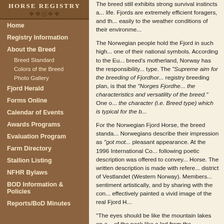HORSE REGISTRY
Home
Registry Information
About the Breed
Breed Standard
Colors of the Breed
Photo Gallery
Fjord Herald
Forms Online
Calendar of Events
Awards Programs
Evaluation Program
Farm Directory
Stallion Listing
NFHR Bylaws
BOD Information & Policies
Reports/BoD Minutes
The breed still exhibits strong survival instincts and a hardy constitution well suited to outdoor life. Fjords are extremely efficient foragers, and they adapt easily to the weather conditions of their environment.
The Norwegian people hold the Fjord in such high esteem that they have chosen it as one of their national symbols. According to the European Federation, as the breed's motherland, Norway has the responsibility to preserve the original breed type. The "Supreme aim for the breeding of Fjordhors..." and the registry breeding plan, is that the "Norges Fjordhes... the characteristics and versatility of the breed." One of... the character (i.e. Breed type) which is typical for the b...
For the Norwegian Fjord Horse, the breed standa... Norwegians describe their impression as "got mote..." pleasant appearance. At the 1996 International Co... following poetic description was offered to convey... Horse. The written description is made with refere... district of Vestlandet (Western Norway). Members... sentiment artistically, and by sharing with the conf... effectively painted a vivid image of the real Fjord H...
"The eyes should be like the mountain lakes on a... of the neck like a lad from the mountains on his w... contours of the mountains set against an evening... spring, and still good-natured."